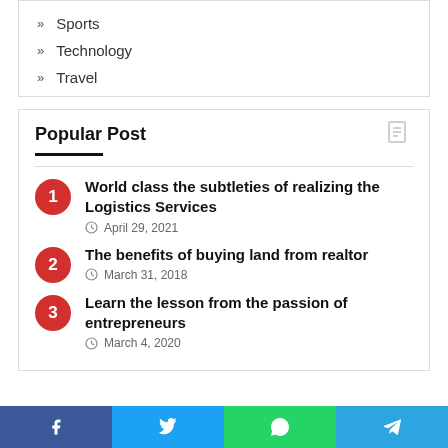Sports
Technology
Travel
Popular Post
World class the subtleties of realizing the Logistics Services — April 29, 2021
The benefits of buying land from realtor — March 31, 2018
Learn the lesson from the passion of entrepreneurs — March 4, 2020